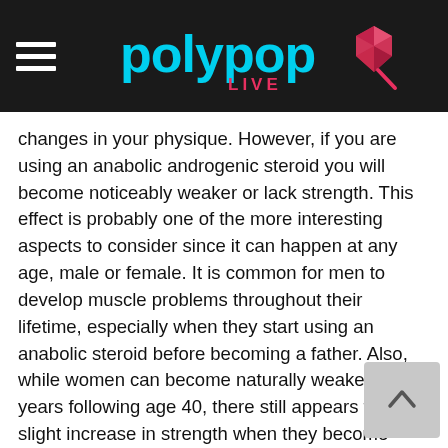polypop LIVE
changes in your physique. However, if you are using an anabolic androgenic steroid you will become noticeably weaker or lack strength. This effect is probably one of the more interesting aspects to consider since it can happen at any age, male or female. It is common for men to develop muscle problems throughout their lifetime, especially when they start using an anabolic steroid before becoming a father. Also, while women can become naturally weaker in the years following age 40, there still appears to be a slight increase in strength when they become mothers.
2 – Increased Tissue Metabolism
When you are naturally developing muscle mass, the average man is likely to gain